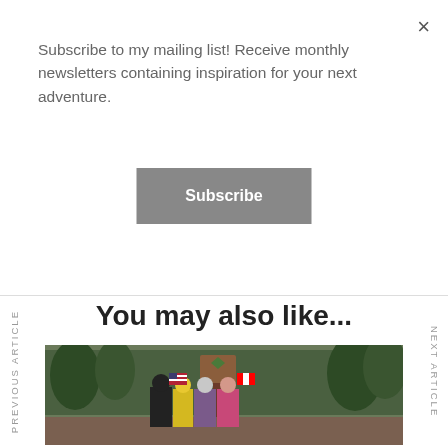Subscribe to my mailing list! Receive monthly newsletters containing inspiration for your next adventure.
Subscribe
×
PREVIOUS ARTICLE
You may also like...
NEXT ARTICLE
[Figure (photo): Four hikers posing at a Pacific Crest Trail marker sign in a forest. They are holding American and Canadian flags. The group appears to be celebrating a trail milestone.]